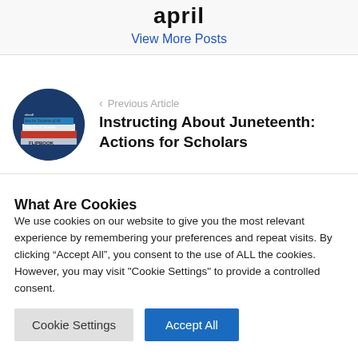april
View More Posts
[Figure (photo): Circular thumbnail image showing book covers and educational materials related to Juneteenth]
< Previous Article
Instructing About Juneteenth: Actions for Scholars
What Are Cookies
We use cookies on our website to give you the most relevant experience by remembering your preferences and repeat visits. By clicking “Accept All”, you consent to the use of ALL the cookies. However, you may visit "Cookie Settings" to provide a controlled consent.
Cookie Settings | Accept All